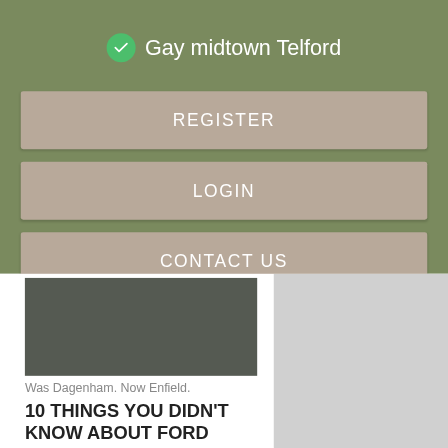Gay midtown Telford
REGISTER
LOGIN
CONTACT US
[Figure (screenshot): Dark gray image placeholder rectangle]
Was Dagenham. Now Enfield.
10 THINGS YOU DIDN'T KNOW ABOUT FORD